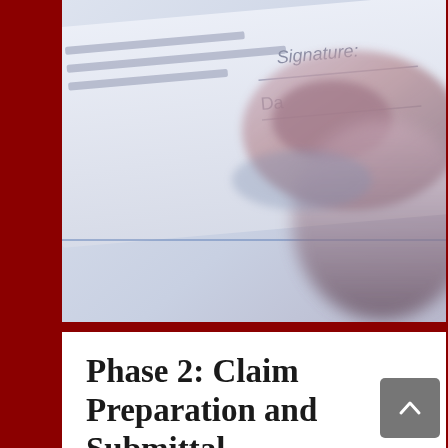[Figure (photo): Close-up photo of a person's finger pressing on a form with 'Signature' and 'Date' fields visible, soft blue-white tones with blurred finger in foreground]
Phase 2: Claim Preparation and Submittal
During the claim preparation and submittal phase, we develop our loss claims in a clear and concise manner, taking into account all direct and